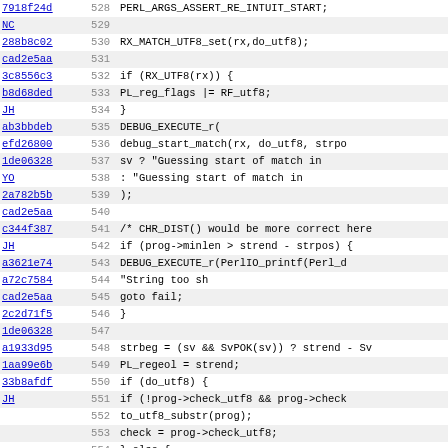[Figure (screenshot): Source code diff/blame view showing lines 528-560 of a Perl/C source file with commit hashes, line numbers, and code content including regex match UTF8 handling, DEBUG_EXECUTE_r, CHR_DIST comment, string length check, utf8 substr, and byte substr logic.]